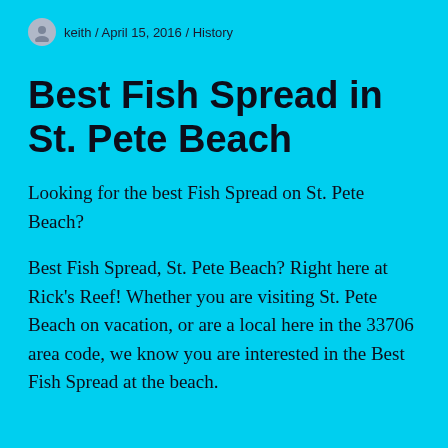keith / April 15, 2016 / History
Best Fish Spread in St. Pete Beach
Looking for the best Fish Spread on St. Pete Beach?
Best Fish Spread, St. Pete Beach? Right here at Rick's Reef! Whether you are visiting St. Pete Beach on vacation, or are a local here in the 33706 area code, we know you are interested in the Best Fish Spread at the beach.